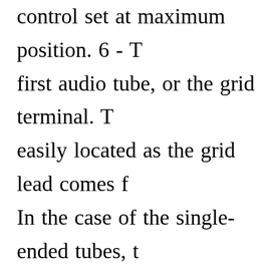control set at maximum position. 6 - T first audio tube, or the grid terminal. T easily located as the grid lead comes f In the case of the single-ended tubes, t center of the volume control to get the your finger were placed there. A loud s heard if all is well in the audio end. 7 power tube. It should make a thump in voltage on the plate of the tube. 8. If